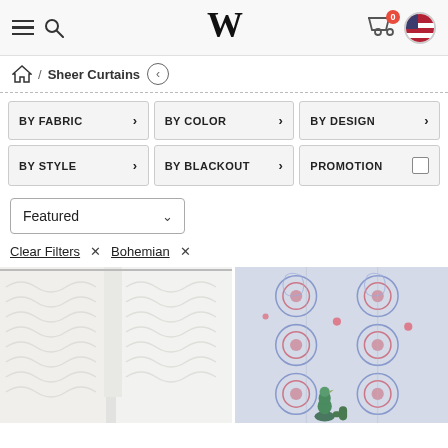V (logo) - Navigation header with hamburger menu, search, cart (0), and US flag
Home / Sheer Curtains
BY FABRIC >
BY COLOR >
BY DESIGN >
BY STYLE >
BY BLACKOUT >
PROMOTION (checkbox)
Featured (dropdown)
Clear Filters × Bohemian ×
[Figure (photo): White sheer curtains with chevron/wave pattern hanging by a window]
[Figure (photo): Bohemian patterned curtains in blue, red, and pink with mandala/paisley design; green decorative bird figurine in foreground]